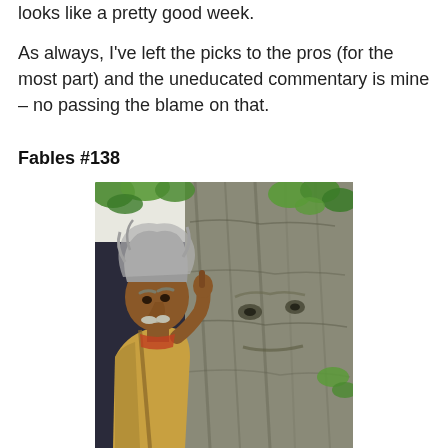looks like a pretty good week.
As always, I've left the picks to the pros (for the most part) and the uneducated commentary is mine – no passing the blame on that.
Fables #138
[Figure (illustration): Comic book cover art showing an elderly man with wild grey hair and a mustache, wearing a tattered yellowish shirt, standing in front of a large tree whose bark has taken the form of a face with eyes. Green leaves are visible in the background.]